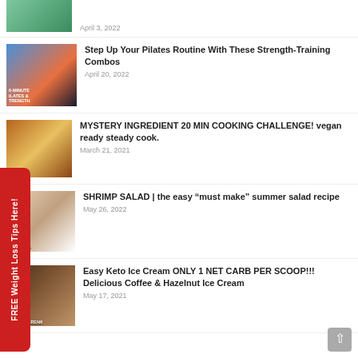April 3, 2022
Step Up Your Pilates Routine With These Strength-Training Combos
April 20, 2022
MYSTERY INGREDIENT 20 MIN COOKING CHALLENGE! vegan ready steady cook.
March 21, 2021
SHRIMP SALAD | the easy “must make” summer salad recipe
May 26, 2022
Easy Keto Ice Cream ONLY 1 NET CARB PER SCOOP!!! Delicious Coffee & Hazelnut Ice Cream
May 17, 2021